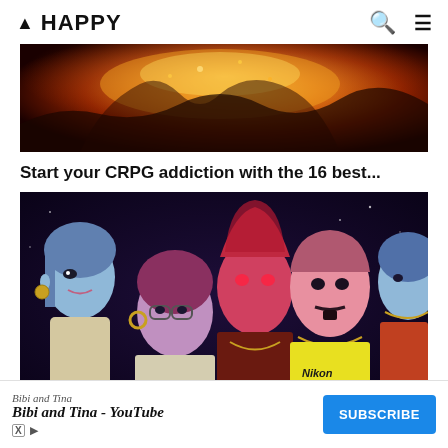▲ HAPPY
[Figure (photo): Dark fantasy scene with fire and a creature, orange and brown tones]
Start your CRPG addiction with the 16 best...
[Figure (illustration): Animated illustration of five stylized characters with blue/purple skin tones and colorful hair, wearing branded streetwear (PlayStation, Nikon)]
Bibi and Tina
Bibi and Tina - YouTube